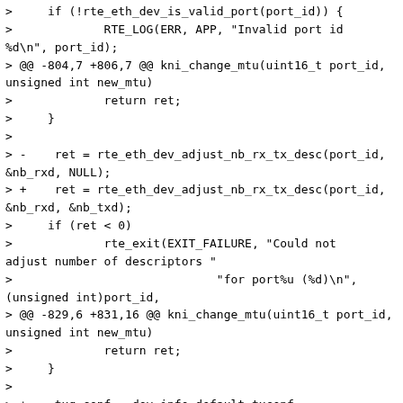>     if (!rte_eth_dev_is_valid_port(port_id)) {
>             RTE_LOG(ERR, APP, "Invalid port id %d\n", port_id);
> @@ -804,7 +806,7 @@ kni_change_mtu(uint16_t port_id, unsigned int new_mtu)
>             return ret;
>     }
>
> -    ret = rte_eth_dev_adjust_nb_rx_tx_desc(port_id, &nb_rxd, NULL);
> +    ret = rte_eth_dev_adjust_nb_rx_tx_desc(port_id, &nb_rxd, &nb_txd);
>     if (ret < 0)
>             rte_exit(EXIT_FAILURE, "Could not adjust number of descriptors "
>                             "for port%u (%d)\n", (unsigned int)port_id,
> @@ -829,6 +831,16 @@ kni_change_mtu(uint16_t port_id, unsigned int new_mtu)
>             return ret;
>     }
>
> +    txq_conf = dev_info.default_txconf;
> +    txq_conf.offloads = conf.txmode.offloads;
> +    ret = rte_eth_tx_queue_setup(port_id, 0, nb_txd,
> +                    rte_eth_dev_socket_id(port_id), &txq_conf);
> +    if (ret < 0) {
> +            RTE_LOG(ERR, APP, "Fail to setup Tx queue of port %d\n",